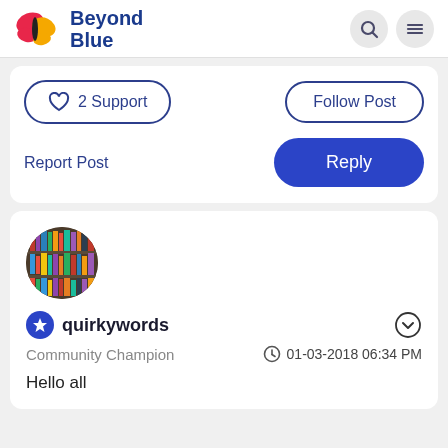Beyond Blue
2 Support
Follow Post
Report Post
Reply
[Figure (photo): Circular avatar showing a bookshelf with many books/DVDs]
quirkywords
Community Champion
01-03-2018 06:34 PM
Hello all